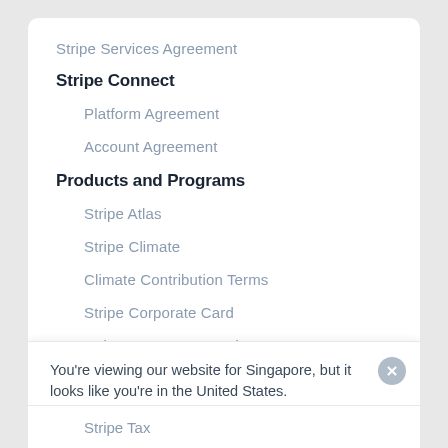Stripe Services Agreement
Stripe Connect
Platform Agreement
Account Agreement
Products and Programs
Stripe Atlas
Stripe Climate
Climate Contribution Terms
Stripe Corporate Card
Stripe Customer Portal
Stripe Data Pipeline
You're viewing our website for Singapore, but it looks like you're in the United States.
Switch to the United States site ›
Stripe Tax